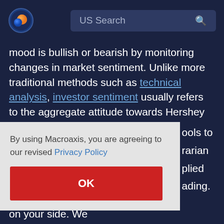US Search
mood is bullish or bearish by monitoring changes in market sentiment. Unlike more traditional methods such as technical analysis, investor sentiment usually refers to the aggregate attitude towards Hershey Foods in the overall investment community. So, suppose investors can accurately measure the market's sentiment. In that case,
By using Macroaxis, you are agreeing to our revised Privacy Policy
OK
Macroaxis puts the power of mathematics on your side. We